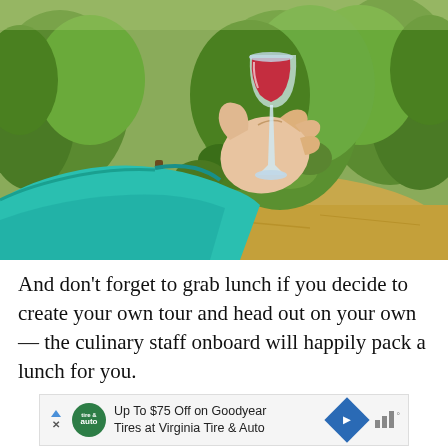[Figure (photo): A hand in a teal/turquoise jacket sleeve holding a wine glass with red wine, set against a backdrop of vineyard grapevines with green leaves and dry straw ground.]
And don't forget to grab lunch if you decide to create your own tour and head out on your own — the culinary staff onboard will happily pack a lunch for you.
[Figure (other): Advertisement banner: Up To $75 Off on Goodyear Tires at Virginia Tire & Auto. Contains tire&auto logo, blue diamond arrow icon, and signal bars icon.]